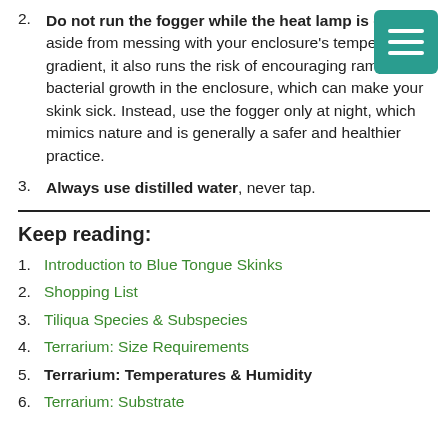2. Do not run the fogger while the heat lamp is on – aside from messing with your enclosure's temperature gradient, it also runs the risk of encouraging rampant bacterial growth in the enclosure, which can make your skink sick. Instead, use the fogger only at night, which mimics nature and is generally a safer and healthier practice.
3. Always use distilled water, never tap.
Keep reading:
1. Introduction to Blue Tongue Skinks
2. Shopping List
3. Tiliqua Species & Subspecies
4. Terrarium: Size Requirements
5. Terrarium: Temperatures & Humidity
6. Terrarium: Substrate